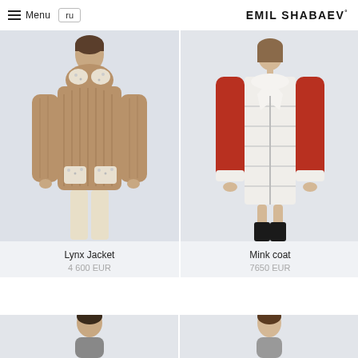Menu  ru  EMIL SHABAEV
[Figure (photo): Woman wearing a brown lynx fur jacket with white spotted fur collar and pocket trim, styled with cream trousers]
Lynx Jacket
4 600 EUR
[Figure (photo): Woman wearing a white quilted mink coat with red sleeves and black boots]
Mink coat
7650 EUR
[Figure (photo): Partial view of a product photo — bottom row left item, model cropped at shoulder level]
[Figure (photo): Partial view of a product photo — bottom row right item, model cropped at shoulder level]